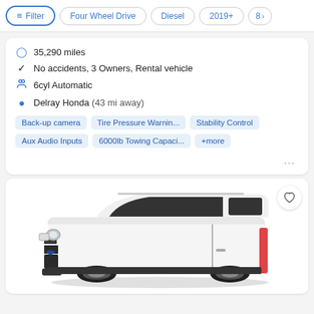Filter | Four Wheel Drive | Diesel | 2019+ | 8 >
35,290 miles
No accidents, 3 Owners, Rental vehicle
6cyl Automatic
Delray Honda (43 mi away)
Back-up camera
Tire Pressure Warnin...
Stability Control
Aux Audio Inputs
6000lb Towing Capaci...
+more
[Figure (photo): White Ford Transit cargo van, side/front angle view]